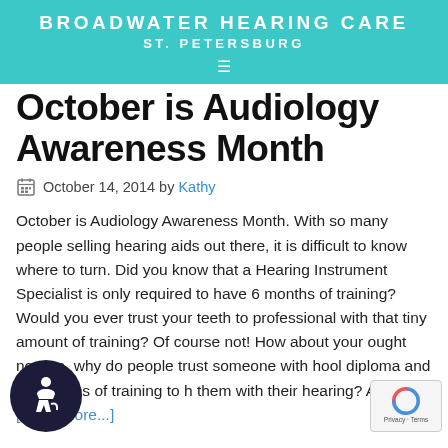BROADWATER HEARING CARE
ST. PETERSBURG
October is Audiology Awareness Month
October 14, 2014 by Kathy
October is Audiology Awareness Month. With so many people selling hearing aids out there, it is difficult to know where to turn. Did you know that a Hearing Instrument Specialist is only required to have 6 months of training? Would you ever trust your teeth to professional with that tiny amount of training? Of course not! How about your [thought not. So, why do people trust someone with [school diploma and six months of training to h[elp] them with their hearing? An … [Read more...]